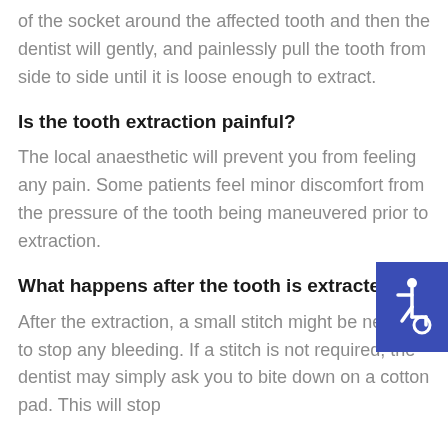of the socket around the affected tooth and then the dentist will gently, and painlessly pull the tooth from side to side until it is loose enough to extract.
Is the tooth extraction painful?
The local anaesthetic will prevent you from feeling any pain. Some patients feel minor discomfort from the pressure of the tooth being maneuvered prior to extraction.
[Figure (illustration): Wheelchair accessibility icon — white figure on blue background]
What happens after the tooth is extracted?
After the extraction, a small stitch might be needed to stop any bleeding. If a stitch is not required, the dentist may simply ask you to bite down on a cotton pad. This will stop